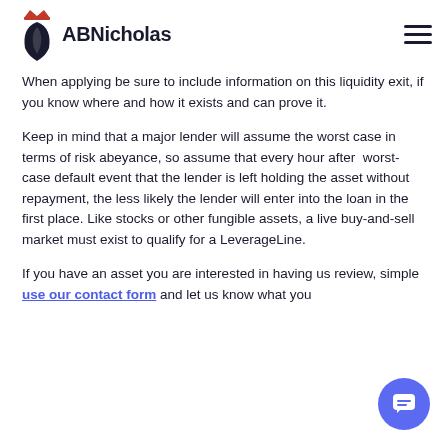ABNicholas
When applying be sure to include information on this liquidity exit, if you know where and how it exists and can prove it.
Keep in mind that a major lender will assume the worst case in terms of risk abeyance, so assume that every hour after worst-case default event that the lender is left holding the asset without repayment, the less likely the lender will enter into the loan in the first place. Like stocks or other fungible assets, a live buy-and-sell market must exist to qualify for a LeverageLine.
If you have an asset you are interested in having us review, simple use our contact form and let us know what you